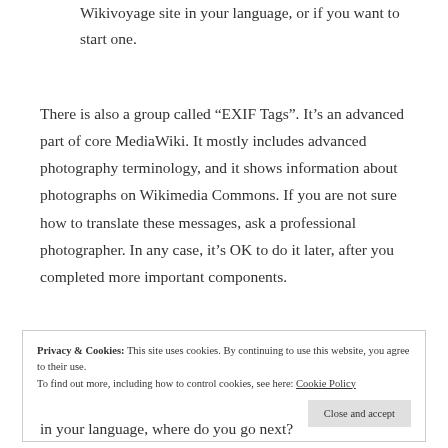Wikivoyage site in your language, or if you want to start one.
There is also a group called “EXIF Tags”. It’s an advanced part of core MediaWiki. It mostly includes advanced photography terminology, and it shows information about photographs on Wikimedia Commons. If you are not sure how to translate these messages, ask a professional photographer. In any case, it’s OK to do it later, after you completed more important components.
Privacy & Cookies: This site uses cookies. By continuing to use this website, you agree to their use.
To find out more, including how to control cookies, see here: Cookie Policy
Close and accept
in your language, where do you go next?